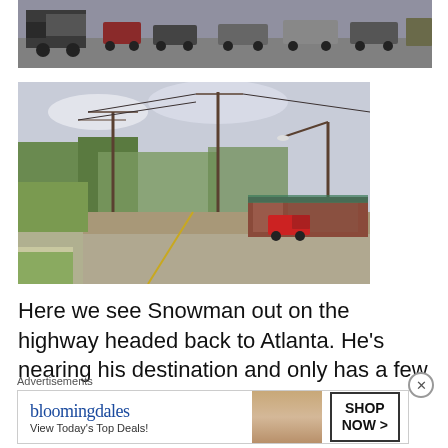[Figure (photo): Street scene with trucks and cars on a busy highway, older vehicles, 1970s era]
[Figure (photo): Empty two-lane road through a small town with utility poles, trees, and a strip mall in the background, red pickup truck visible]
Here we see Snowman out on the highway headed back to Atlanta. He's nearing his destination and only has a few
Advertisements
[Figure (other): Bloomingdale's advertisement: 'View Today's Top Deals!' with woman in wide-brim hat and 'SHOP NOW >' button]